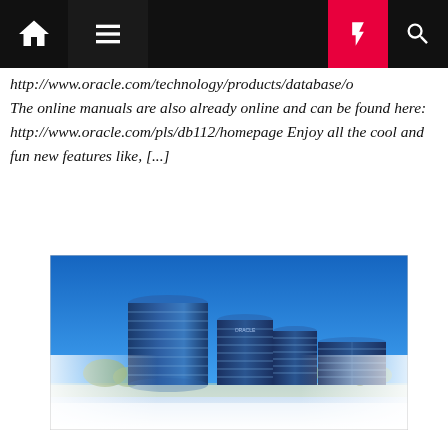navigation bar with home, menu, flash, and search icons
http://www.oracle.com/technology/products/database/o... The online manuals are also already online and can be found here: http://www.oracle.com/pls/db112/homepage Enjoy all the cool and fun new features like, [...]
[Figure (photo): Photo of Oracle headquarters campus in Redwood Shores — four cylindrical glass towers of decreasing height reflected in a lake under a clear blue sky, with trees and landscaping in the foreground.]